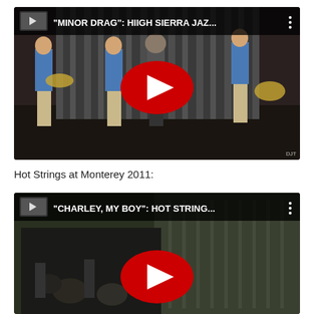[Figure (screenshot): YouTube video thumbnail showing jazz band performing on stage with title 'MINOR DRAG: HIIGH SIERRA JAZ...' and red play button overlay]
Hot Strings at Monterey 2011:
[Figure (screenshot): YouTube video thumbnail showing musicians performing with title 'CHARLEY, MY BOY: HOT STRING...' and red play button overlay, partially cropped at bottom]